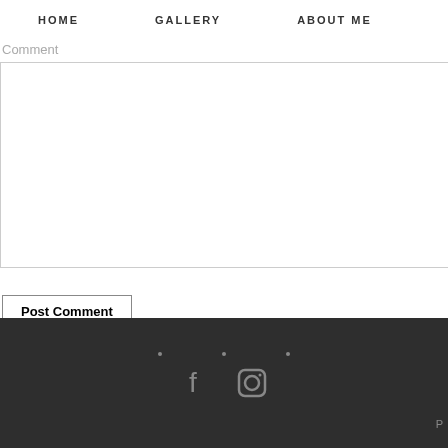HOME   GALLERY   ABOUT ME
Comment
[Figure (screenshot): Empty comment text area input box with border]
Post Comment
Social media icons: Facebook, Instagram. Footer bar with dark background.